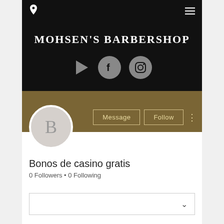Navigation bar with location pin and hamburger menu
MOHSEN'S BARBERSHOP
[Figure (infographic): Social media icons: play button, Facebook circle, Instagram circle]
Message  Follow
[Figure (infographic): Profile avatar circle with letter B]
Bonos de casino gratis
0 Followers • 0 Following
Dropdown box with chevron